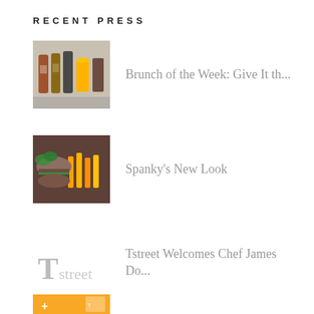RECENT PRESS
Brunch of the Week: Give It th...
Spanky's New Look
Tstreet Welcomes Chef James Do...
Shaken, Not Stirred Martini Pa...
DiningOut interviews Chef Just...